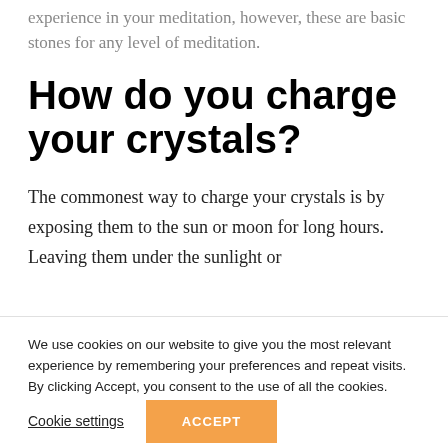experience in your meditation, however, these are basic stones for any level of meditation.
How do you charge your crystals?
The commonest way to charge your crystals is by exposing them to the sun or moon for long hours. Leaving them under the sunlight or
We use cookies on our website to give you the most relevant experience by remembering your preferences and repeat visits. By clicking Accept, you consent to the use of all the cookies.
Cookie settings
ACCEPT